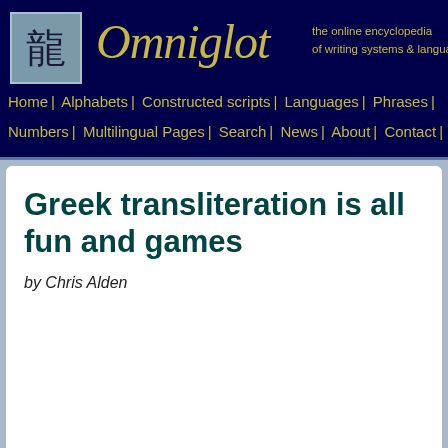Omniglot — the online encyclopedia of writing systems & languages
Home | Alphabets | Constructed scripts | Languages | Phrases | Numbers | Multilingual Pages | Search | News | About | Contact
Greek transliteration is all fun and games
by Chris Alden